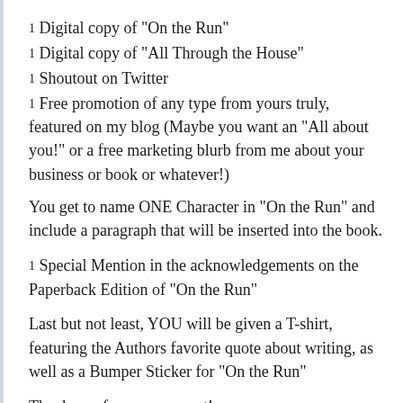1 Digital copy of "On the Run"
1 Digital copy of "All Through the House"
1 Shoutout on Twitter
1 Free promotion of any type from yours truly, featured on my blog (Maybe you want an "All about you!" or a free marketing blurb from me about your business or book or whatever!)
You get to name ONE Character in "On the Run" and include a paragraph that will be inserted into the book.
1 Special Mention in the acknowledgements on the Paperback Edition of "On the Run"
Last but not least, YOU will be given a T-shirt, featuring the Authors favorite quote about writing, as well as a Bumper Sticker for "On the Run"
Thank you for your support!